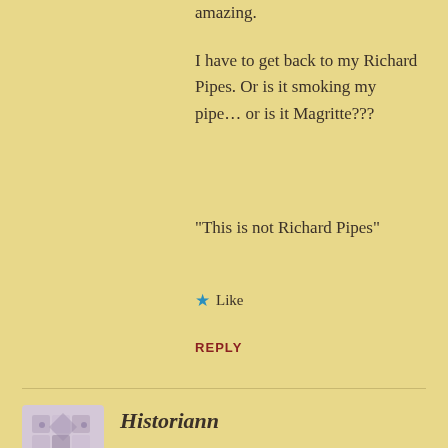amazing.
I have to get back to my Richard Pipes. Or is it smoking my pipe… or is it Magritte???
“This is not Richard Pipes”
★ Like
REPLY
[Figure (illustration): Avatar icon with geometric pattern in muted purple/lavender tones]
Historiann
SEPTEMBER 12, 2011 AT 10:25 AM
Ce n’est pas un Richard Pipes.